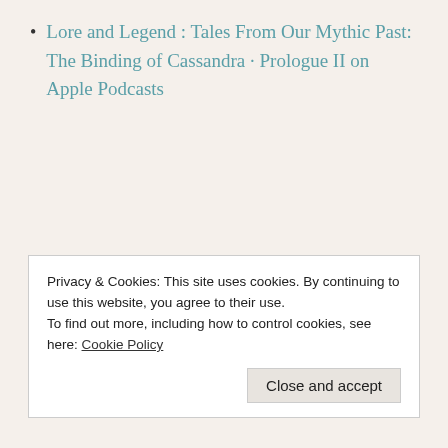Lore and Legend : Tales From Our Mythic Past: The Binding of Cassandra · Prologue II on Apple Podcasts
The Binding of Cassandra is the second of four 'mini-episodes' or prologues to our second season of Lore & Legend, which focuses on Greek mythology. Season 2: The Gates of Dream explores the Gods and
Privacy & Cookies: This site uses cookies. By continuing to use this website, you agree to their use.
To find out more, including how to control cookies, see here: Cookie Policy
Close and accept